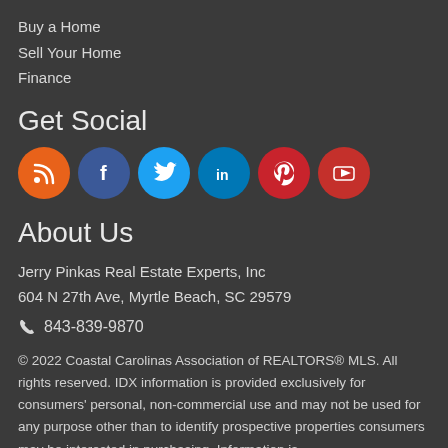Buy a Home
Sell Your Home
Finance
Get Social
[Figure (infographic): Six social media icon circles: RSS (orange), Facebook (dark blue), Twitter (light blue), LinkedIn (medium blue), Pinterest (red), YouTube (red)]
About Us
Jerry Pinkas Real Estate Experts, Inc
604 N 27th Ave, Myrtle Beach, SC 29579
843-839-9870
© 2022 Coastal Carolinas Association of REALTORS® MLS. All rights reserved. IDX information is provided exclusively for consumers' personal, non-commercial use and may not be used for any purpose other than to identify prospective properties consumers may be interested in purchasing. Information is